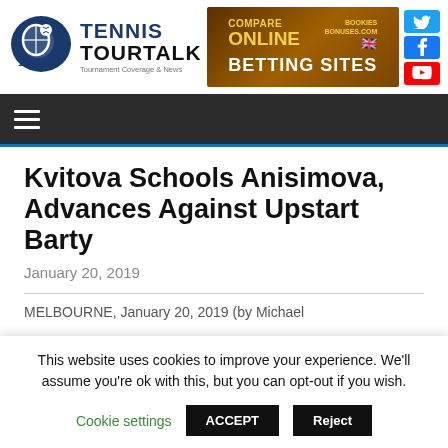[Figure (logo): Tennis TourTalk logo with tennis ball/racket icon and text 'TENNIS TOURTALK - Tournament Coverage & News']
[Figure (other): Compare Online Betting Sites advertisement banner with yellow and white text on dark orange/brown background]
[Figure (other): Social media icons: Twitter (blue bird), Facebook (blue f), YouTube (red play button)]
[Figure (other): Dark navigation bar with hamburger menu icon (three horizontal lines)]
Kvitova Schools Anisimova, Advances Against Upstart Barty
January 20, 2019
MELBOURNE, January 20, 2019 (by Michael
This website uses cookies to improve your experience. We'll assume you're ok with this, but you can opt-out if you wish.
Cookie settings   ACCEPT   Reject